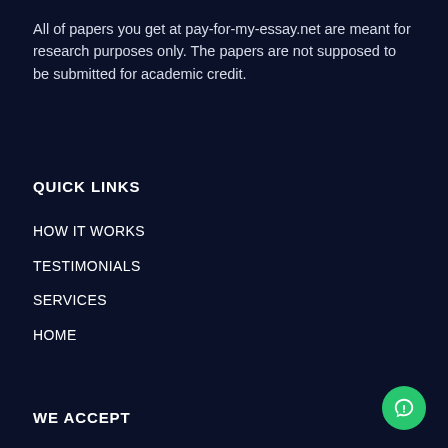All of papers you get at pay-for-my-essay.net are meant for research purposes only. The papers are not supposed to be submitted for academic credit.
QUICK LINKS
HOW IT WORKS
TESTIMONIALS
SERVICES
HOME
WE ACCEPT